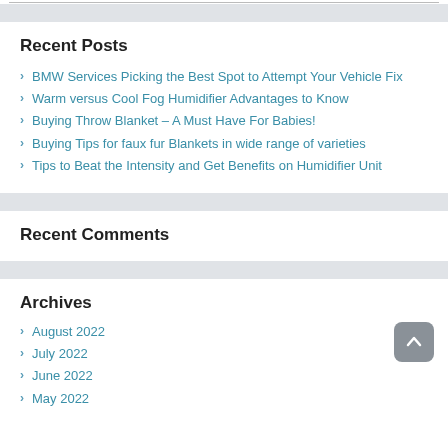Recent Posts
BMW Services Picking the Best Spot to Attempt Your Vehicle Fix
Warm versus Cool Fog Humidifier Advantages to Know
Buying Throw Blanket – A Must Have For Babies!
Buying Tips for faux fur Blankets in wide range of varieties
Tips to Beat the Intensity and Get Benefits on Humidifier Unit
Recent Comments
Archives
August 2022
July 2022
June 2022
May 2022